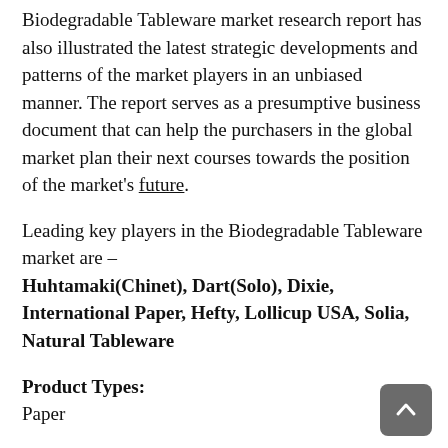Biodegradable Tableware market research report has also illustrated the latest strategic developments and patterns of the market players in an unbiased manner. The report serves as a presumptive business document that can help the purchasers in the global market plan their next courses towards the position of the market's future.
Leading key players in the Biodegradable Tableware market are – Huhtamaki(Chinet), Dart(Solo), Dixie, International Paper, Hefty, Lollicup USA, Solia, Natural Tableware
Product Types:
Paper